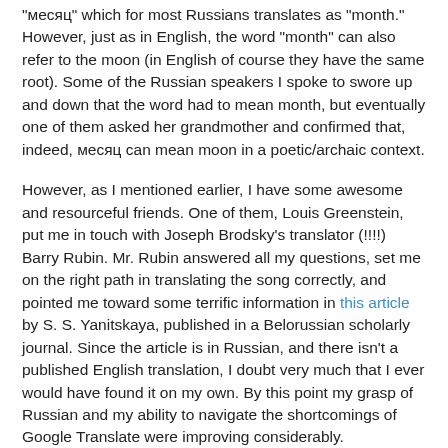"месяц" which for most Russians translates as "month." However, just as in English, the word "month" can also refer to the moon (in English of course they have the same root). Some of the Russian speakers I spoke to swore up and down that the word had to mean month, but eventually one of them asked her grandmother and confirmed that, indeed, месяц can mean moon in a poetic/archaic context.
However, as I mentioned earlier, I have some awesome and resourceful friends. One of them, Louis Greenstein, put me in touch with Joseph Brodsky's translator (!!!!) Barry Rubin. Mr. Rubin answered all my questions, set me on the right path in translating the song correctly, and pointed me toward some terrific information in this article by S. S. Yanitskaya, published in a Belorussian scholarly journal. Since the article is in Russian, and there isn't a published English translation, I doubt very much that I ever would have found it on my own. By this point my grasp of Russian and my ability to navigate the shortcomings of Google Translate were improving considerably.
Here's my version of the lyrics. Of course the exact